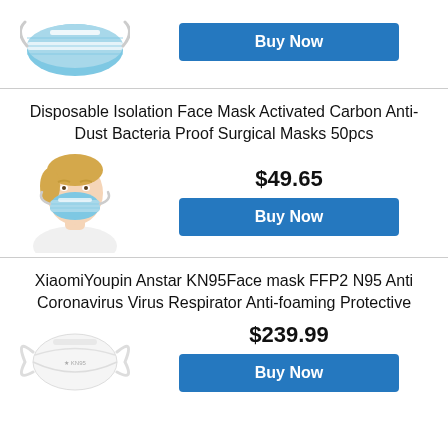[Figure (photo): Blue disposable face mask product image (partial, top of page)]
Buy Now
Disposable Isolation Face Mask Activated Carbon Anti-Dust Bacteria Proof Surgical Masks 50pcs
[Figure (photo): Woman wearing a blue disposable surgical face mask]
$49.65
Buy Now
XiaomiYoupin Anstar KN95Face mask FFP2 N95 Anti Coronavirus Virus Respirator Anti-foaming Protective
[Figure (photo): White KN95/N95 respirator face mask product image]
$239.99
Buy Now